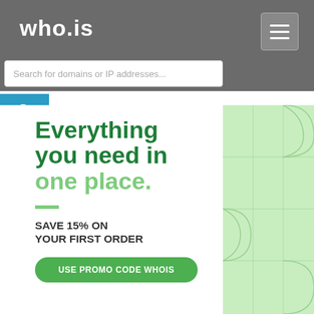who.is
Search for domains or IP addresses...
Everything you need in one place.
SAVE 15% ON YOUR FIRST ORDER
USE PROMO CODE WHOIS